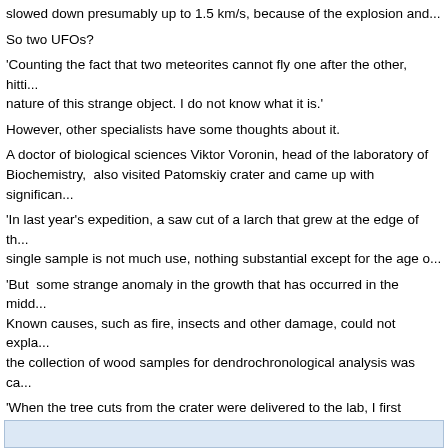slowed down presumably up to 1.5 km/s, because of the explosion and...
So two UFOs?
'Counting the fact that two meteorites cannot fly one after the other, hitti... nature of this strange object. I do not know what it is.'
However, other specialists have some thoughts about it.
A doctor of biological sciences Viktor Voronin, head of the laboratory of Biochemistry,  also visited Patomskiy crater and came up with significan...
'In last year's expedition, a saw cut of a larch that grew at the edge of th... single sample is not much use, nothing substantial except for the age o...
'But  some strange anomaly in the growth that has occurred in the midd... Known causes, such as fire, insects and other damage, could not expla... the collection of wood samples for dendrochronological analysis was ca...
'When the tree cuts from the crater were delivered to the lab, I first dete... growing at its bottom, dated back to the beginning of the 16th century. I...
'But the oldest tree on the slopes of the crater had grown since 1770. It... later than the last date, and, logically, a little earlier ...
'A tree cannot grow on the bare rocks, so first the soil should have form... the crater at least 250 years old.'
So that was one finding.
[Figure (other): Light blue rectangular box at the bottom of the page, partially visible.]